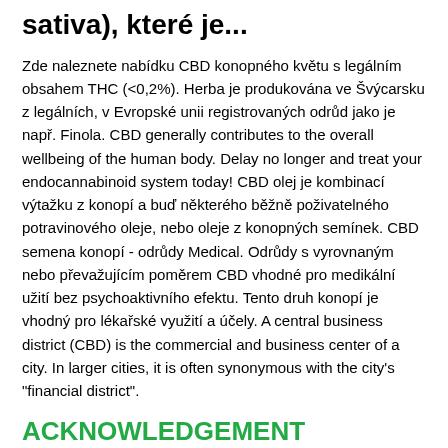sativa), které je...
Zde naleznete nabídku CBD konopného květu s legálním obsahem THC (<0,2%). Herba je produkována ve Švýcarsku z legálních, v Evropské unii registrovaných odrůd jako je např. Finola. CBD generally contributes to the overall wellbeing of the human body. Delay no longer and treat your endocannabinoid system today! CBD olej je kombinací výtažku z konopí a buď některého běžně poživatelného potravinového oleje, nebo oleje z konopných semínek. CBD semena konopí - odrůdy Medical. Odrůdy s vyrovnaným nebo převažujícím poměrem CBD vhodné pro medikální užití bez psychoaktivního efektu. Tento druh konopí je vhodný pro lékařské využití a účely. A central business district (CBD) is the commercial and business center of a city. In larger cities, it is often synonymous with the city's "financial district".
ACKNOWLEDGEMENT CONSENT,